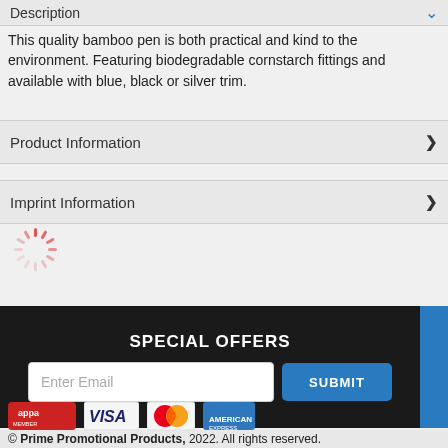Description
This quality bamboo pen is both practical and kind to the environment. Featuring biodegradable cornstarch fittings and available with blue, black or silver trim.
Product Information
Imprint Information
[Figure (other): Loading spinner icon (animated circular loading indicator in red/pink)]
SPECIAL OFFERS
Enter Email
SUBMIT
© Prime Promotional Products, 2022. All rights reserved.
[Figure (logo): Payment and membership logos: APPA MEMBER, VISA, MasterCard, American Express]